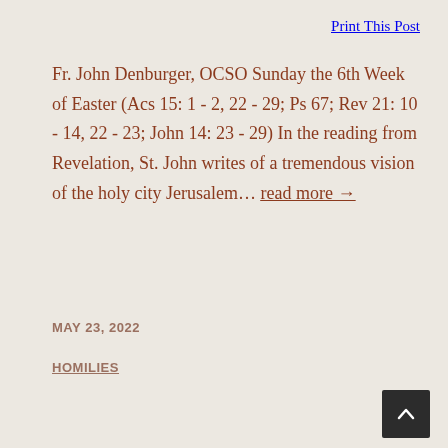Print This Post
Fr. John Denburger, OCSO Sunday the 6th Week of Easter (Acs 15: 1 - 2, 22 - 29; Ps 67; Rev 21: 10 - 14, 22 - 23; John 14: 23 - 29) In the reading from Revelation, St. John writes of a tremendous vision of the holy city Jerusalem… read more →
MAY 23, 2022
HOMILIES